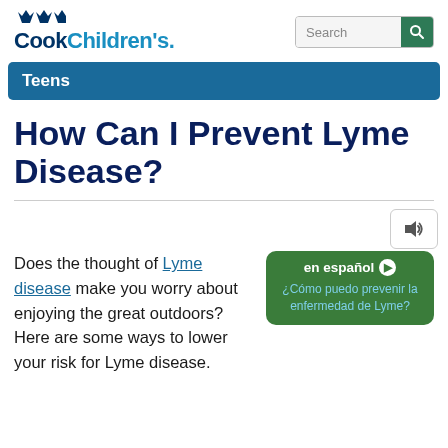Cook Children's — Search
Teens
How Can I Prevent Lyme Disease?
Does the thought of Lyme disease make you worry about enjoying the great outdoors? Here are some ways to lower your risk for Lyme disease.
en español — ¿Cómo puedo prevenir la enfermedad de Lyme?